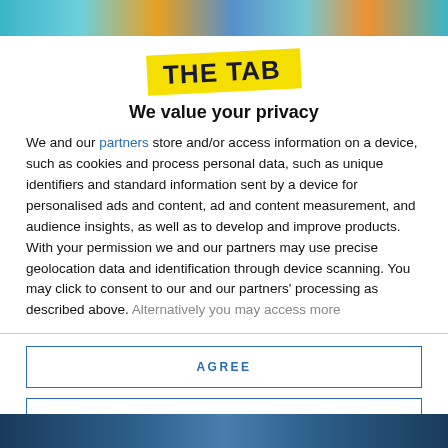[Figure (photo): Top strip showing partial photo of people with colorful background]
[Figure (logo): The Tab logo — bold uppercase text on yellow rotated background]
We value your privacy
We and our partners store and/or access information on a device, such as cookies and process personal data, such as unique identifiers and standard information sent by a device for personalised ads and content, ad and content measurement, and audience insights, as well as to develop and improve products. With your permission we and our partners may use precise geolocation data and identification through device scanning. You may click to consent to our and our partners' processing as described above. Alternatively you may access more
AGREE
MORE OPTIONS
[Figure (photo): Bottom strip showing partial photo of people]